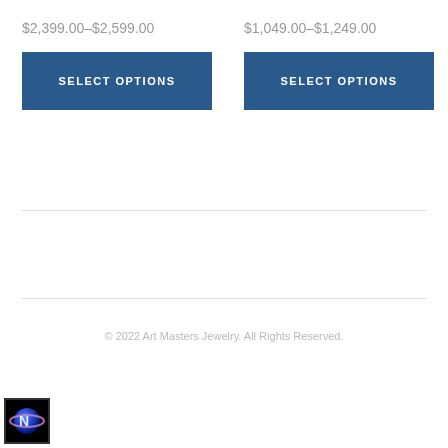$2,399.00–$2,599.00
$1,049.00–$1,249.00
SELECT OPTIONS
SELECT OPTIONS
© 2022 Art Masters Jewelry. All Rights Reserved.
[Figure (logo): Art Masters Jewelry logo — dark square border with a blue planet/globe and stylized letter N icon]